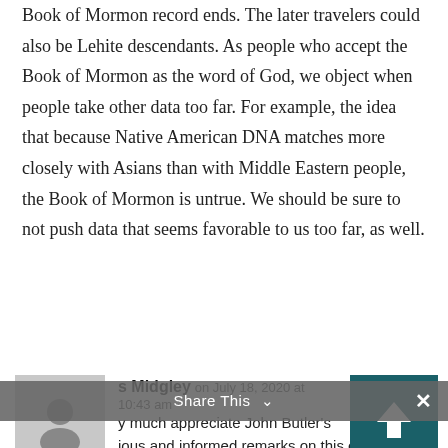Book of Mormon record ends. The later travelers could also be Lehite descendants. As people who accept the Book of Mormon as the word of God, we object when people take other data too far. For example, the idea that because Native American DNA matches more closely with Asians than with Middle Eastern people, the Book of Mormon is untrue. We should be sure to not push data that seems favorable to us too far, as well.
Reply
s Midgley on July 18, 2020 at 10:43 am
y much appreciate John Butler's
ious and informed remarks on this essay.
Share This